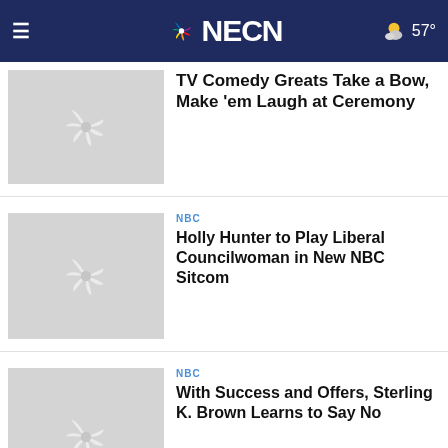NECN — 57°
TV Comedy Greats Take a Bow, Make 'em Laugh at Ceremony
NBC — Holly Hunter to Play Liberal Councilwoman in New NBC Sitcom
NBC — With Success and Offers, Sterling K. Brown Learns to Say No